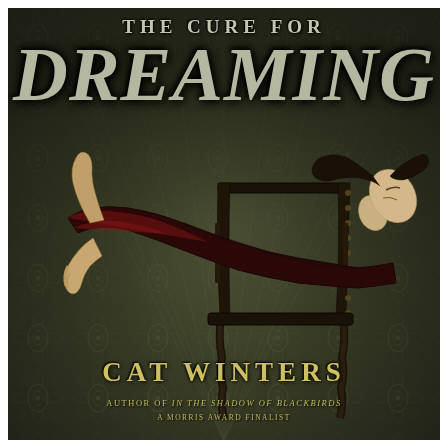[Figure (illustration): Book cover for 'The Cure for Dreaming' by Cat Winters. Dark olive/army green background with floral damask wallpaper texture and radiating lines. A young woman in Victorian-era clothing (dark dress, red fabric) is shown reclining/levitating horizontally beside a tall ornate wooden chair with spiral legs and nail-head trim. The woman's head is thrown back, hair dark, eyes closed or looking up. The overall mood is gothic and mysterious.]
THE CURE FOR DREAMING
CAT WINTERS
AUTHOR OF IN THE SHADOW OF BLACKBIRDS
A MORRIS AWARD FINALIST